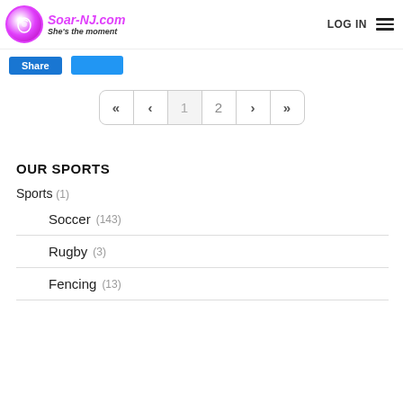Soar-NJ.com She's the moment — LOG IN
[Figure (screenshot): Share button and a blue button in toolbar area]
[Figure (screenshot): Pagination control showing «, <, 1, 2, >, >> buttons]
OUR SPORTS
Sports (1)
Soccer (143)
Rugby (3)
Fencing (13)